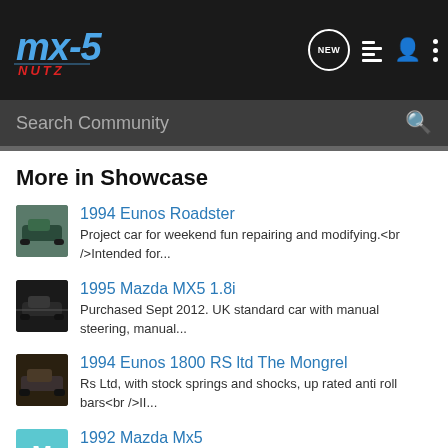MX5 NUTZ - Community Forum Header with navigation icons: NEW, list, person, menu
Search Community
More in Showcase
1994 Eunos Roadster
Project car for weekend fun repairing and modifying.<br />Intended for...
1995 Mazda MX5 1.8i
Purchased Sept 2012. UK standard car with manual steering, manual...
1994 Eunos 1800 RS ltd The Mongrel
Rs Ltd, with stock springs and shocks, up rated anti roll bars<br />II...
1992 Mazda Mx5
WEcar, BP4W BPZE swapped, megasquirted, cammed, 6speed,